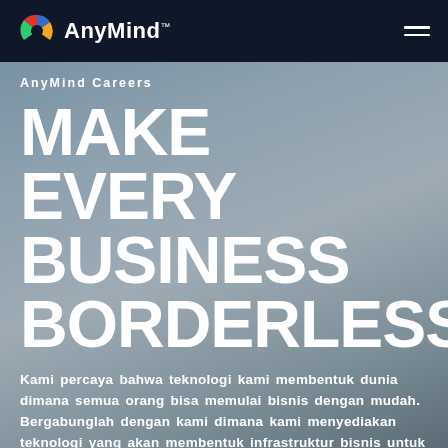AnyMind™
AnyMind Careers
MAKE EVERY BUSINESS BORDERLESS
Kami percaya bahwa teknologi kami membentuk dunia dimana semua orang bisa memulai bisnis dengan mudah. Bergabunglah dengan kami dimana kami menyediakan teknologi yang akan membentuk infrastruktur bisnis untuk next-generation commerce.